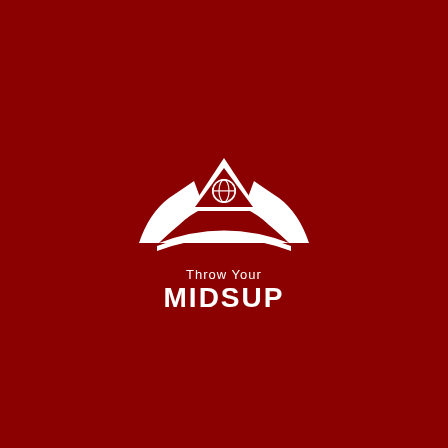[Figure (logo): White logo on dark red background. Shows a mountain/tent-like arch shape with a triangle pointing upward inside it, containing a small globe icon. Below the arch shape is text reading 'Throw Your' in smaller font and 'MIDSUP' in large bold font.]